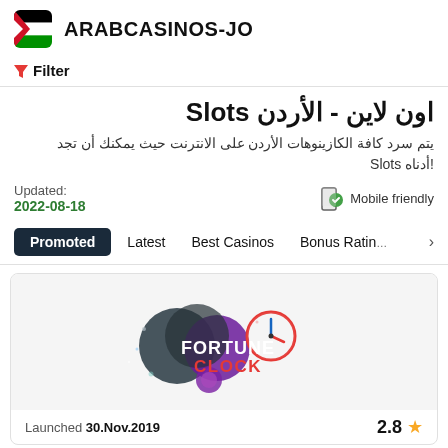ARABCASINOS-JO
Filter
اون لاين - الأردن Slots
يتم سرد كافة الكازينوهات الأردن على الانترنت حيث يمكنك أن تجد !أدناه Slots
Updated:
2022-08-18
Mobile friendly
Promoted  Latest  Best Casinos  Bonus Rating
[Figure (logo): Fortune Clock casino logo with colorful sphere graphics and clock element]
Launched 30.Nov.2019  2.8 ★